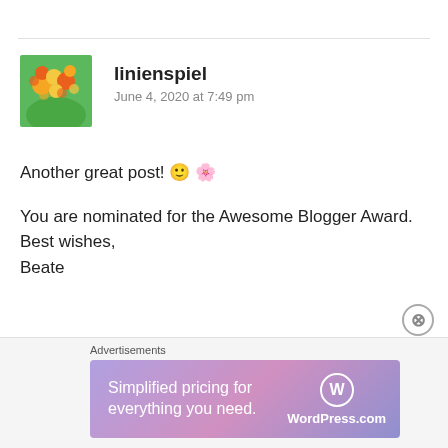[Figure (illustration): Colorful floral avatar image with orange and yellow flowers on green background]
linienspiel
June 4, 2020 at 7:49 pm
Another great post! 🙂 🌸
You are nominated for the Awesome Blogger Award. Best wishes,
Beate
https://linienspiel.wordpress.com/2020/06/04/awesome-blogger-award-12/
Advertisements
[Figure (infographic): WordPress.com advertisement banner: Simplified pricing for everything you need. WordPress.com logo on gradient purple-pink background]